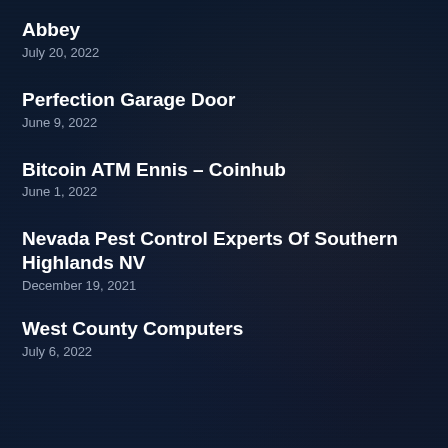Abbey
July 20, 2022
Perfection Garage Door
June 9, 2022
Bitcoin ATM Ennis – Coinhub
June 1, 2022
Nevada Pest Control Experts Of Southern Highlands NV
December 19, 2021
West County Computers
July 6, 2022